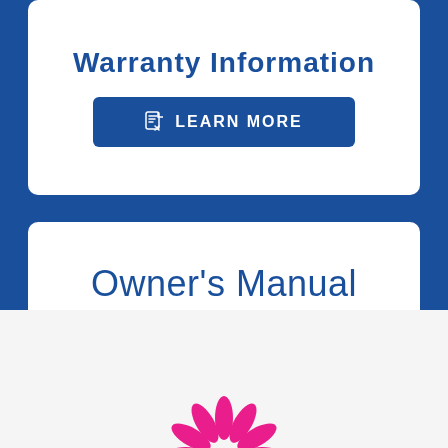Warranty Information
LEARN MORE
Owner's Manual
DOWNLOAD NOW
[Figure (logo): Pink/magenta sunburst logo at the bottom of the page]